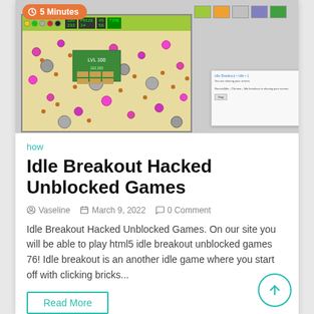[Figure (screenshot): Idle Breakout game screenshot with colorful balls and game UI, alongside a dialog box and thumbnail strip. An orange '5 Minutes' timer badge overlays the top-left.]
how
Idle Breakout Hacked Unblocked Games
Vaseline   March 9, 2022   0 Comment
Idle Breakout Hacked Unblocked Games. On our site you will be able to play html5 idle breakout unblocked games 76! Idle breakout is an another idle game where you start off with clicking bricks...
Read More